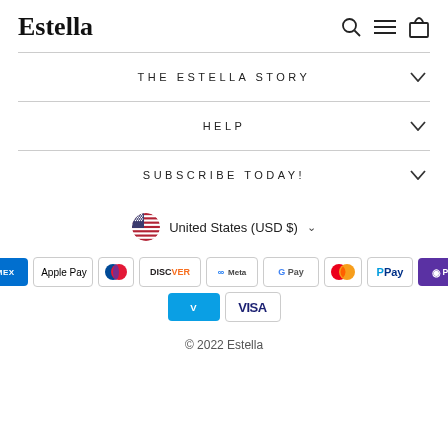Estella
THE ESTELLA STORY
HELP
SUBSCRIBE TODAY!
United States (USD $)
[Figure (infographic): Payment method icons: American Express, Apple Pay, Diners Club, Discover, Meta Pay, Google Pay, Mastercard, PayPal, Shop Pay, Venmo, Visa]
© 2022 Estella